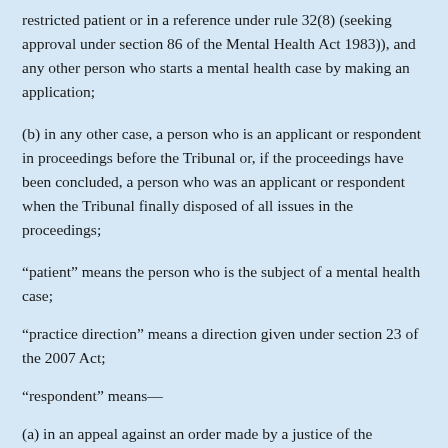restricted patient or in a reference under rule 32(8) (seeking approval under section 86 of the Mental Health Act 1983)), and any other person who starts a mental health case by making an application;
(b) in any other case, a person who is an applicant or respondent in proceedings before the Tribunal or, if the proceedings have been concluded, a person who was an applicant or respondent when the Tribunal finally disposed of all issues in the proceedings;
“patient” means the person who is the subject of a mental health case;
“practice direction” means a direction given under section 23 of the 2007 Act;
“respondent” means—
(a) in an appeal against an order made by a justice of the